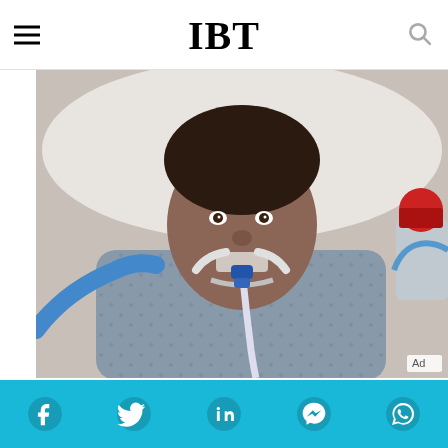IBT
[Figure (photo): Woman lying in hospital bed with oxygen/ventilator tubes attached to her face, wearing hospital gown. Medical equipment visible. Ad label in bottom right.]
Here's What Coronavirus Does To The Body
HERBEAUTY
[Figure (photo): Side-by-side images: left shows a police officer cap/hat with insignia, right shows a man's face partially cropped]
Social sharing bar with Facebook, Twitter, LinkedIn, Messenger, WhatsApp icons